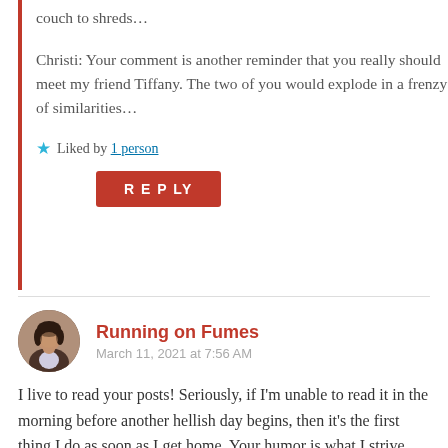couch to shreds…
Christi: Your comment is another reminder that you really should meet my friend Tiffany. The two of you would explode in a frenzy of similarities…
★ Liked by 1 person
REPLY
[Figure (photo): Circular avatar photo of a woman with dark hair, wearing a dark jacket, against an outdoor background.]
Running on Fumes
March 11, 2021 at 7:56 AM
I live to read your posts! Seriously, if I'm unable to read it in the morning before another hellish day begins, then it's the first thing I do as soon as I get home. Your humor is what I strive for!
★ Liked by 4 people